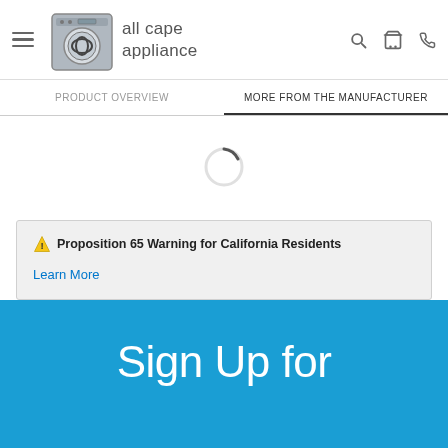all cape appliance — navigation header with hamburger menu, logo, search, cart, phone icons
PRODUCT OVERVIEW | MORE FROM THE MANUFACTURER
[Figure (other): Loading spinner / activity indicator circle]
⚠ Proposition 65 Warning for California Residents
Learn More
Sign Up for